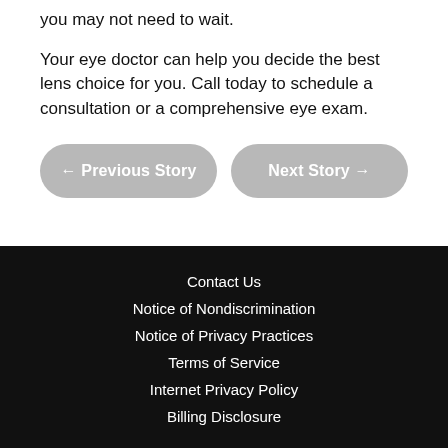you may not need to wait.
Your eye doctor can help you decide the best lens choice for you.  Call today to schedule a consultation or a comprehensive eye exam.
← Previous Story
Next Story →
Contact Us
Notice of Nondiscrimination
Notice of Privacy Practices
Terms of Service
Internet Privacy Policy
Billing Disclosure